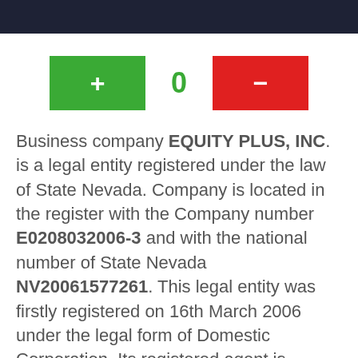[Figure (other): Dark navy header bar at the top of the page]
[Figure (infographic): UI controls row with a green plus button, a green zero counter, and a red minus button]
Business company EQUITY PLUS, INC. is a legal entity registered under the law of State Nevada. Company is located in the register with the Company number E0208032006-3 and with the national number of State Nevada NV20061577261. This legal entity was firstly registered on 16th March 2006 under the legal form of Domestic Corporation. Its registered agent is ANDERSON REGISTERED AGENTS with the